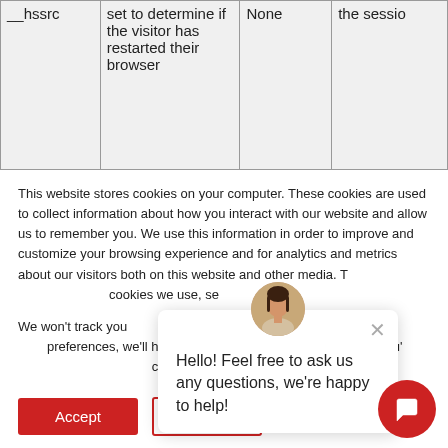|  |  | None | the sessio |
| --- | --- | --- | --- |
| __hssrc | set to determine if the visitor has restarted their browser | None | the sessio |
This website stores cookies on your computer. These cookies are used to collect information about how you interact with our website and allow us to remember you. We use this information in order to improve and customize your browsing experience and for analytics and metrics about our visitors both on this website and other media. To find out more about the cookies we use, se
We won't track you... our site. But in ord preferences, we'll h cookie so that you' choice again.
[Figure (other): Chat popup with avatar photo of a woman, close button (x), and message: Hello! Feel free to ask us any questions, we're happy to help!]
Hello! Feel free to ask us any questions, we're happy to help!
Accept
Decline